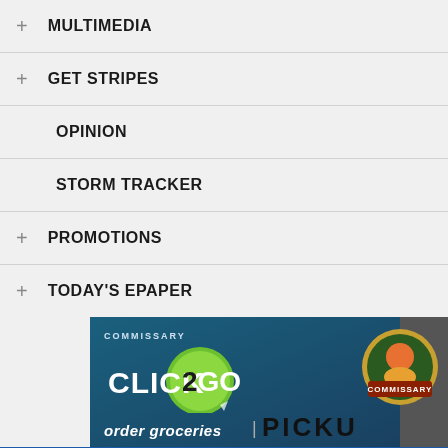+ MULTIMEDIA
+ GET STRIPES
OPINION
STORM TRACKER
+ PROMOTIONS
+ TODAY'S EPAPER
[Figure (illustration): Commissary Click2Go advertisement banner showing green circular logo with '2GO' text, Commissary badge on right, and text 'order groceries' at bottom left with large dark text on right side. A chevron/arrow on the far right.]
Articles left: 4
Subscribe to get unlimited access  Subscribe
Already have an account?  Login here